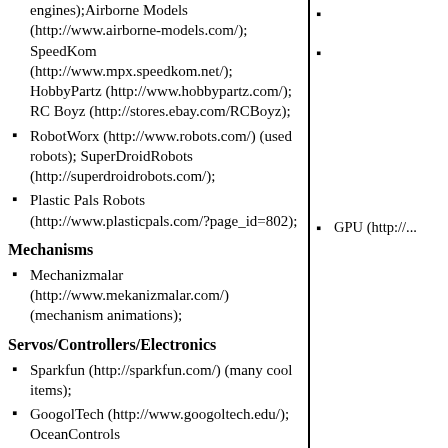engines);Airborne Models (http://www.airborne-models.com/); SpeedKom (http://www.mpx.speedkom.net/); HobbyPartz (http://www.hobbypartz.com/); RC Boyz (http://stores.ebay.com/RCBoyz);
RobotWorx (http://www.robots.com/) (used robots); SuperDroidRobots (http://superdroidrobots.com/);
Plastic Pals Robots (http://www.plasticpals.com/?page_id=802);
Mechanisms
Mechanizmalar (http://www.mekanizmalar.com/) (mechanism animations);
Servos/Controllers/Electronics
Sparkfun (http://sparkfun.com/) (many cool items);
GoogolTech (http://www.googoltech.edu/); OceanControls (http://oceancontrols.com.au/) (quite extensive); RobotPower (http://www.robotpower.com/) (high power
GPU (http://...